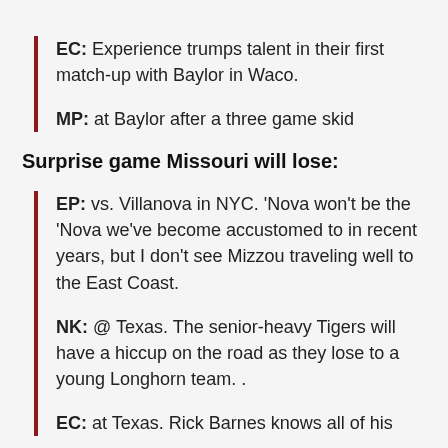EC: Experience trumps talent in their first match-up with Baylor in Waco.
MP: at Baylor after a three game skid
Surprise game Missouri will lose:
EP: vs. Villanova in NYC. 'Nova won't be the 'Nova we've become accustomed to in recent years, but I don't see Mizzou traveling well to the East Coast.
NK: @ Texas. The senior-heavy Tigers will have a hiccup on the road as they lose to a young Longhorn team. .
EC: at Texas. Rick Barnes knows all of his